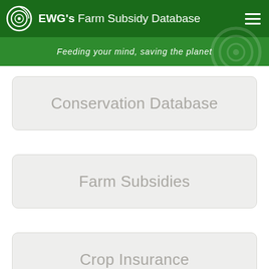EWG's Farm Subsidy Database
Feeding your mind, saving the planet
Conservation Database
Farm Subsidies
Crop Insurance